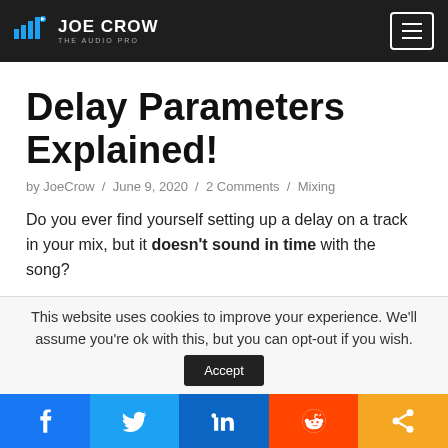JOE CROW THE AUDIO PRO
Delay Parameters Explained!
by JoeCrow / June 9, 2020 / 2 Comments / Mixing
Do you ever find yourself setting up a delay on a track in your mix, but it doesn't sound in time with the song?
Or perhaps you've got your delay in time, but it just doesn't sound that great... The luscious, spacious delay
This website uses cookies to improve your experience. We'll assume you're ok with this, but you can opt-out if you wish.
f  Twitter  in  Reddit  Share